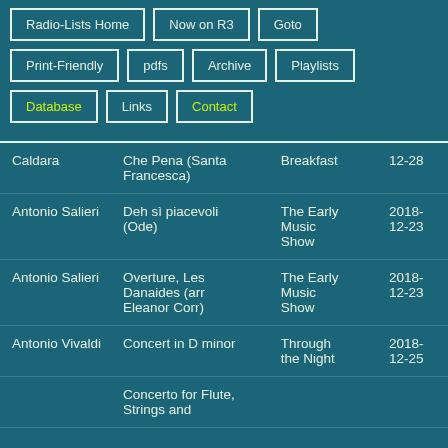Radio-Lists Home
Now on R3
Goto
Print-Friendly
pdfs
Archive
Playlists
Database
Links
Contact
| Composer | Work | Show | Date |
| --- | --- | --- | --- |
| Caldara | Che Pena (Santa Francesca) | Breakfast | 12-28 |
| Antonio Salieri | Deh sì piacevoli (Ode) | The Early Music Show | 2018-12-23 |
| Antonio Salieri | Overture, Les Danaides (arr Eleanor Corr) | The Early Music Show | 2018-12-23 |
| Antonio Vivaldi | Concert in D minor | Through the Night | 2018-12-25 |
|  | Concerto for Flute, Strings and |  |  |